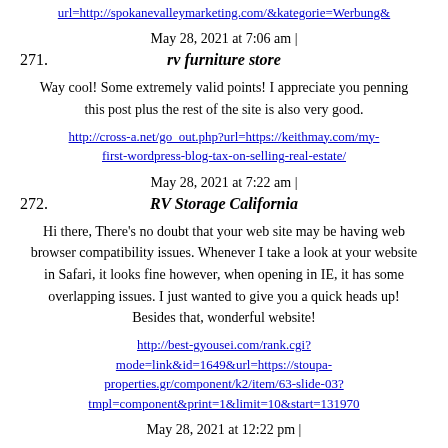url=http://spokanevalleymarketing.com/&kategorie=Werbung&...
May 28, 2021 at 7:06 am | 271. rv furniture store
Way cool! Some extremely valid points! I appreciate you penning this post plus the rest of the site is also very good.
http://cross-a.net/go_out.php?url=https://keithmay.com/my-first-wordpress-blog-tax-on-selling-real-estate/
May 28, 2021 at 7:22 am | 272. RV Storage California
Hi there, There's no doubt that your web site may be having web browser compatibility issues. Whenever I take a look at your website in Safari, it looks fine however, when opening in IE, it has some overlapping issues. I just wanted to give you a quick heads up! Besides that, wonderful website!
http://best-gyousei.com/rank.cgi?mode=link&id=1649&url=https://stoupa-properties.gr/component/k2/item/63-slide-03?tmpl=component&print=1&limit=10&start=131970
May 28, 2021 at 12:22 pm |